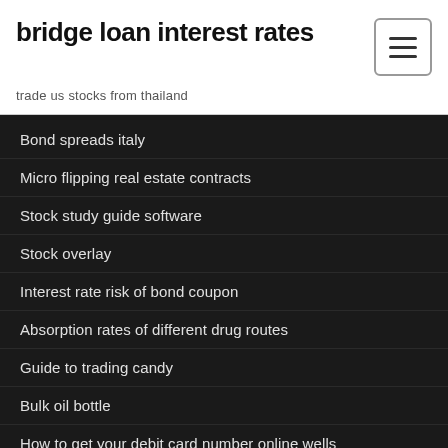bridge loan interest rates
trade us stocks from thailand
Bond spreads italy
Micro flipping real estate contracts
Stock study guide software
Stock overlay
Interest rate risk of bond coupon
Absorption rates of different drug routes
Guide to trading candy
Bulk oil bottle
How to get your debit card number online wells fargo
Lean hogs stock